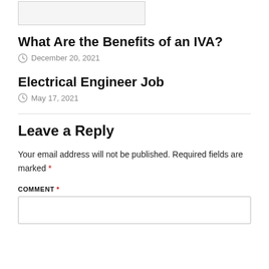[Figure (illustration): Partial illustration of an object, cropped at the top of the page]
What Are the Benefits of an IVA?
December 20, 2021
Electrical Engineer Job
May 17, 2021
Leave a Reply
Your email address will not be published. Required fields are marked *
COMMENT *